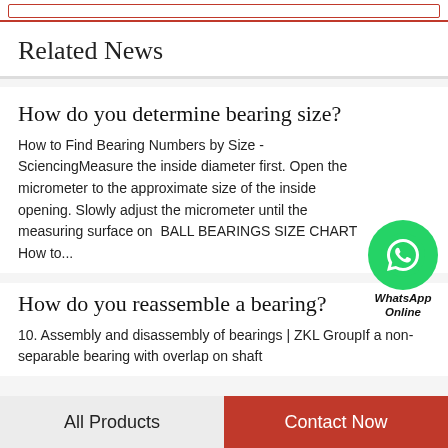Related News
How do you determine bearing size?
How to Find Bearing Numbers by Size - SciencingMeasure the inside diameter first. Open the micrometer to the approximate size of the inside opening. Slowly adjust the micrometer until the measuring surface on  BALL BEARINGS SIZE CHART How to...
How do you reassemble a bearing?
10. Assembly and disassembly of bearings | ZKL GroupIf a non-separable bearing with overlap on shaft
All Products   Contact Now